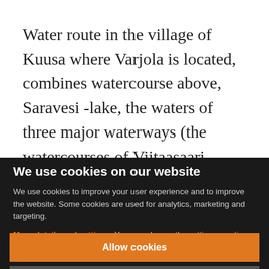Water route in the village of Kuusa where Varjola is located, combines watercourse above, Saravesi -lake, the waters of three major waterways (the watercourses of Viitaasaari, Saarijärvi and Peutalampi). Kuusankoski
We use cookies on our website
We use cookies to improve your user experience and to improve the website. Some cookies are used for analytics, marketing and targeting.
More details and settings. You can change the settings any time by clicking the Cookie settings link in the footer.
Allow cookies
Only necessary